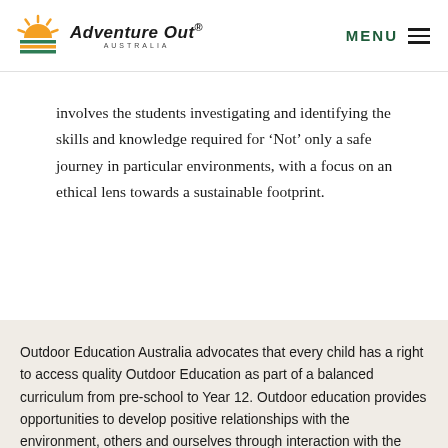Adventure Out Australia | MENU
involves the students investigating and identifying the skills and knowledge required for ‘Not’ only a safe journey in particular environments, with a focus on an ethical lens towards a sustainable footprint.
Outdoor Education Australia advocates that every child has a right to access quality Outdoor Education as part of a balanced curriculum from pre-school to Year 12. Outdoor education provides opportunities to develop positive relationships with the environment, others and ourselves through interaction with the natural world.